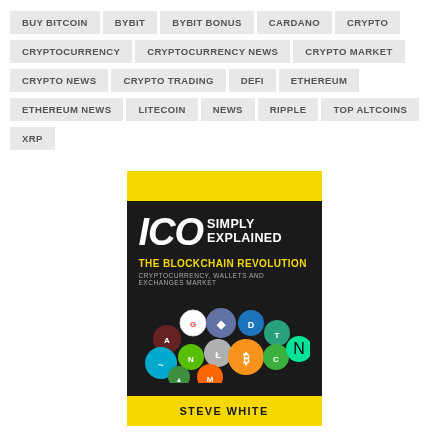BUY BITCOIN
BYBIT
BYBIT BONUS
CARDANO
CRYPTO
CRYPTOCURRENCY
CRYPTOCURRENCY NEWS
CRYPTO MARKET
CRYPTO NEWS
CRYPTO TRADING
DEFI
ETHEREUM
ETHEREUM NEWS
LITECOIN
NEWS
RIPPLE
TOP ALTCOINS
XRP
[Figure (illustration): Book cover: ICO Simply Explained - The Blockchain Revolution, Cryptocurrency, Wallets and Exchanges Market by Steve White. Dark cover with yellow top and bottom bands, large ICO text, various cryptocurrency coin logos.]